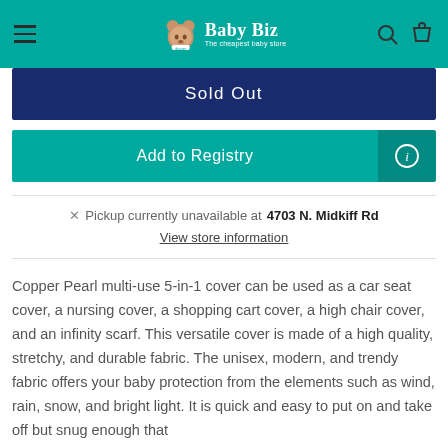Baby Biz - The cheapest baby store
Sold Out
Add to Registry
Pickup currently unavailable at 4703 N. Midkiff Rd
View store information
Copper Pearl multi-use 5-in-1 cover can be used as a car seat cover, a nursing cover, a shopping cart cover, a high chair cover, and an infinity scarf. This versatile cover is made of a high quality, stretchy, and durable fabric. The unisex, modern, and trendy fabric offers your baby protection from the elements such as wind, rain, snow, and bright light. It is quick and easy to put on and take off but snug enough that